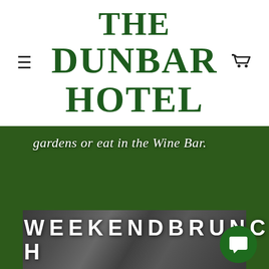THE DUNBAR HOTEL
[Figure (photo): Wooden table surface, grayscale, partially visible, with overlaid text 'gardens or eat in the Wine Bar.' with dark green borders on left and right sides]
gardens or eat in the Wine Bar.
[Figure (photo): Grayscale close-up food/ingredients photo with text overlay 'WEEKEND BRUNCH' and a green circular chat button in bottom right corner]
WEEKEND BRUNCH